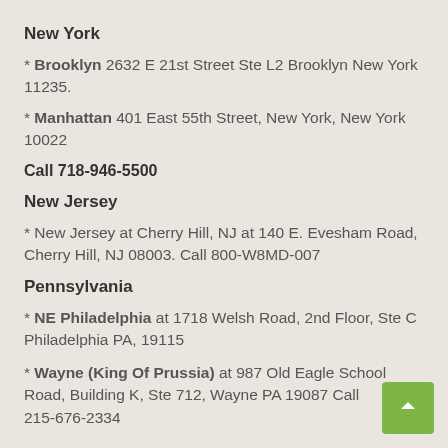New York
* Brooklyn 2632 E 21st Street Ste L2 Brooklyn New York 11235.
* Manhattan 401 East 55th Street, New York, New York 10022
Call 718-946-5500
New Jersey
* New Jersey at Cherry Hill, NJ at 140 E. Evesham Road, Cherry Hill, NJ 08003. Call 800-W8MD-007
Pennsylvania
* NE Philadelphia at 1718 Welsh Road, 2nd Floor, Ste C Philadelphia PA, 19115
* Wayne (King Of Prussia) at 987 Old Eagle School Road, Building K, Ste 712, Wayne PA 19087 Call 215-676-2334